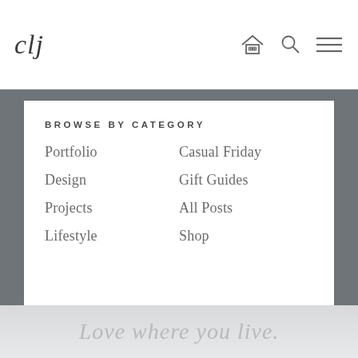clj
BROWSE BY CATEGORY
Portfolio
Casual Friday
Design
Gift Guides
Projects
All Posts
Lifestyle
Shop
Love where you live.